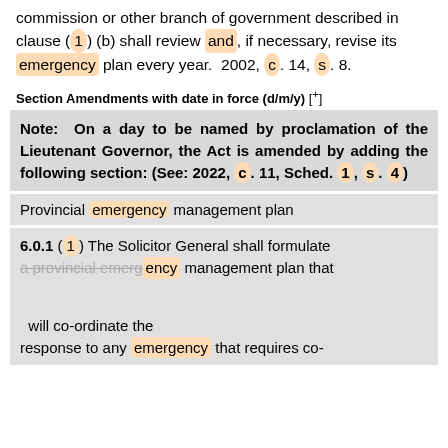commission or other branch of government described in clause (1) (b) shall review and, if necessary, revise its emergency plan every year.  2002, c. 14, s. 8.
Section Amendments with date in force (d/m/y) [+]
Note: On a day to be named by proclamation of the Lieutenant Governor, the Act is amended by adding the following section: (See: 2022, c. 11, Sched. 1, s. 4)
Provincial emergency management plan
6.0.1 (1) The Solicitor General shall formulate a provincial emergency management plan that ... will co-ordinate the response to any emergency that requires co-
1199 result(s) prev next